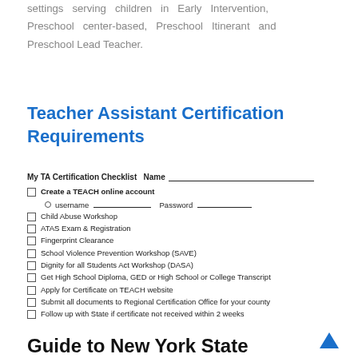settings serving children in Early Intervention, Preschool center-based, Preschool Itinerant and Preschool Lead Teacher.
Teacher Assistant Certification Requirements
My TA Certification Checklist   Name ___________________________
Create a TEACH online account
username __________________ Password __________________
Child Abuse Workshop
ATAS Exam & Registration
Fingerprint Clearance
School Violence Prevention Workshop (SAVE)
Dignity for all Students Act Workshop (DASA)
Get High School Diploma, GED or High School or College Transcript
Apply for Certificate on TEACH website
Submit all documents to Regional Certification Office for your county
Follow up with State if certificate not received within 2 weeks
Guide to New York State